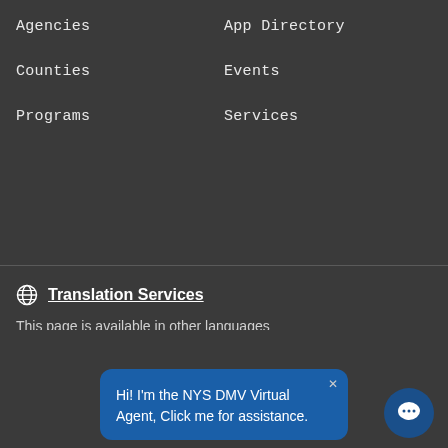Agencies
App Directory
Counties
Events
Programs
Services
Translation Services
This page is available in other languages
Translate
Hi! I'm the NYS DMV Virtual Agent, Click me for assistance.